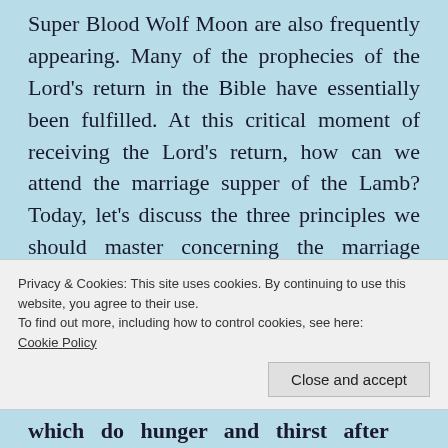Super Blood Wolf Moon are also frequently appearing. Many of the prophecies of the Lord's return in the Bible have essentially been fulfilled. At this critical moment of receiving the Lord's return, how can we attend the marriage supper of the Lamb? Today, let's discuss the three principles we should master concerning the marriage supper of the Lamb.
1. Be Someone Who Humbly Seeks and Hungers
Privacy & Cookies: This site uses cookies. By continuing to use this website, you agree to their use.
To find out more, including how to control cookies, see here: Cookie Policy
which do hunger and thirst after